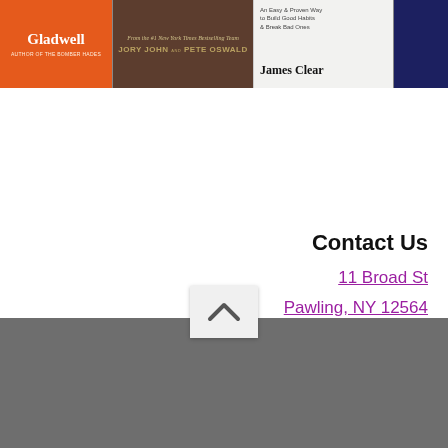[Figure (photo): Four book covers in a horizontal strip: (1) orange cover with 'Gladwell' text, (2) dark cover with stack of books by Jory John and Pete Oswald, (3) white cover with 'James Clear' author name, (4) partial dark blue cover]
Contact Us
11 Broad St
Pawling, NY 12564
Phone (845) 855 – 3444
Fax (845) 855 – 8138
[Figure (other): Up arrow button (chevron) on light grey background, above dark grey footer bar]